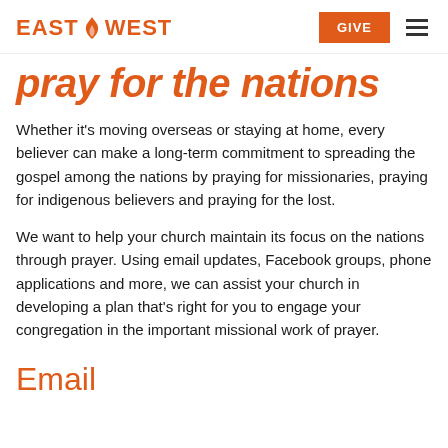EAST WEST | GIVE
pray for the nations
Whether it's moving overseas or staying at home, every believer can make a long-term commitment to spreading the gospel among the nations by praying for missionaries, praying for indigenous believers and praying for the lost.
We want to help your church maintain its focus on the nations through prayer. Using email updates, Facebook groups, phone applications and more, we can assist your church in developing a plan that's right for you to engage your congregation in the important missional work of prayer.
Email